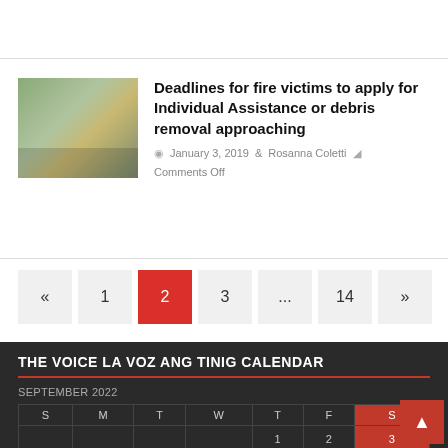Deadlines for fire victims to apply for Individual Assistance or debris removal approaching
January 3, 2019  Rosanna Coletti  Comments Off
« 1 2 3 ... 14 »
THE VOICE LA VOZ ANG TINIG CALENDAR
SEPTEMBER 2022
| S | M | T | W | T | F | S |
| --- | --- | --- | --- | --- | --- | --- |
|  |  |  |  | 1 | 2 | 3 |
| 4 | 5 | 6 | 7 | 8 | 9 | 10 |